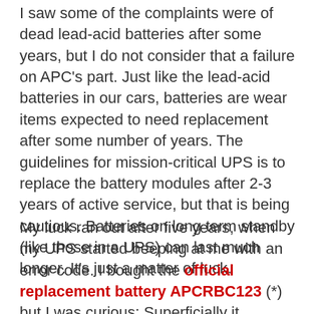I saw some of the complaints were of dead lead-acid batteries after some years, but I do not consider that a failure on APC's part. Just like the lead-acid batteries in our cars, batteries are wear items expected to need replacement after some number of years. The guidelines for mission-critical UPS is to replace the battery modules after 2-3 years of active service, but that is being cautious. Batteries on long term standby (like those in a UPS) can last much longer. It's just a matter of luck.
My luck ran out after five years, when my UPS started beeping at me with an error code. I bought the official replacement battery APCRBC123 (*) but I was curious: Superficially it appears to be two commodity 7Ah 12V modules connected together, are they actually that? Once the new module was installed and working, I took the old module outside to see if my suspicion was correct. The modules were held together by plastic